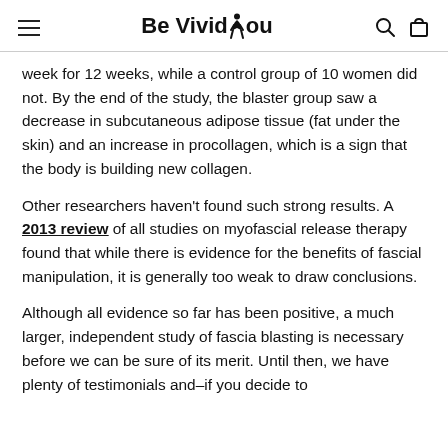Be Vivid You
week for 12 weeks, while a control group of 10 women did not. By the end of the study, the blaster group saw a decrease in subcutaneous adipose tissue (fat under the skin) and an increase in procollagen, which is a sign that the body is building new collagen.
Other researchers haven't found such strong results. A 2013 review of all studies on myofascial release therapy found that while there is evidence for the benefits of fascial manipulation, it is generally too weak to draw conclusions.
Although all evidence so far has been positive, a much larger, independent study of fascia blasting is necessary before we can be sure of its merit. Until then, we have plenty of testimonials and–if you decide to